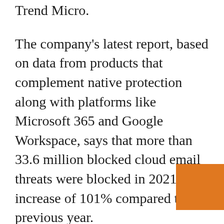Trend Micro.
The company's latest report, based on data from products that complement native protection along with platforms like Microsoft 365 and Google Workspace, says that more than 33.6 million blocked cloud email threats were blocked in 2021 – an increase of 101% compared to the previous year.
Last year, the biggest increase was seen for emails with previously unidentified malware – 221%. Among known malware, email security services blocked 3.3 million malicious files, up 134% from 2020. For phishing, 16.5 million attacks were blocked, representing a 138% year-over-year increase the year. Credential phishing attacks increased by 15% to 6.3 million in t...